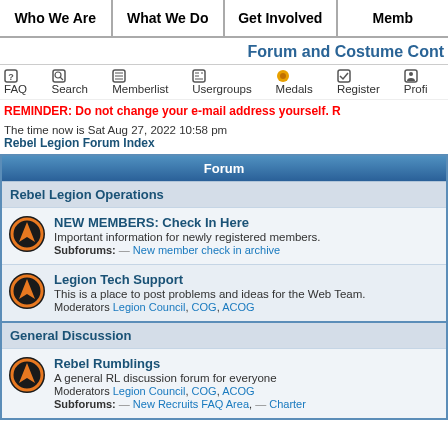Who We Are | What We Do | Get Involved | Memb
Forum and Costume Cont
FAQ  Search  Memberlist  Usergroups  Medals  Register  Profi
REMINDER: Do not change your e-mail address yourself. R
The time now is Sat Aug 27, 2022 10:58 pm
Rebel Legion Forum Index
Forum
Rebel Legion Operations
NEW MEMBERS: Check In Here
Important information for newly registered members.
Subforums: — New member check in archive
Legion Tech Support
This is a place to post problems and ideas for the Web Team.
Moderators Legion Council, COG, ACOG
General Discussion
Rebel Rumblings
A general RL discussion forum for everyone
Moderators Legion Council, COG, ACOG
Subforums: — New Recruits FAQ Area, — Charter